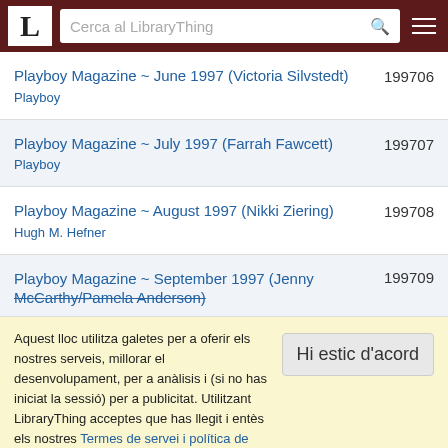LibraryThing - Cerca al LibraryThing
Playboy Magazine ~ June 1997 (Victoria Silvstedt)
Playboy
199706
Playboy Magazine ~ July 1997 (Farrah Fawcett)
Playboy
199707
Playboy Magazine ~ August 1997 (Nikki Ziering)
Hugh M. Hefner
199708
Playboy Magazine ~ September 1997 (Jenny McCarthy/Pamela Anderson)
199709
Aquest lloc utilitza galetes per a oferir els nostres serveis, millorar el desenvolupament, per a anàlisis i (si no has iniciat la sessió) per a publicitat. Utilitzant LibraryThing acceptes que has llegit i entès els nostres Termes de servei i política de privacitat. L'ús que facis del lloc i dels seus serveis està subjecte a aquestes polítiques i termes.